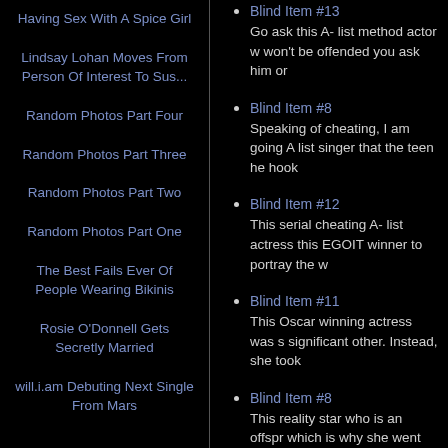Having Sex With A Spice Girl
Lindsay Lohan Moves From Person Of Interest To Sus...
Random Photos Part Four
Random Photos Part Three
Random Photos Part Two
Random Photos Part One
The Best Fails Ever Of People Wearing Bikinis
Rosie O'Donnell Gets Secretly Married
will.i.am Debuting Next Single From Mars
Blind Item #13
Go ask this A- list method actor w won't be offended you ask him or
Blind Item #8
Speaking of cheating, I am going A list singer that the teen he hook
Blind Item #12
This serial cheating A- list actress this EGOIT winner to portray the w
Blind Item #11
This Oscar winning actress was s significant other. Instead, she took
Blind Item #8
This reality star who is an offspr which is why she went back to he